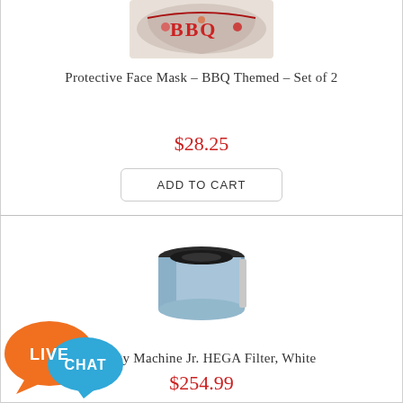[Figure (photo): Protective face mask with BBQ themed pattern, red and colorful design]
Protective Face Mask – BBQ Themed – Set of 2
$28.25
ADD TO CART
[Figure (photo): Allergy Machine Jr. HEGA Filter in white/blue cylindrical shape]
Allergy Machine Jr. HEGA Filter, White
[Figure (illustration): Live Chat badge with orange and blue speech bubbles saying LIVE and CHAT]
$254.99